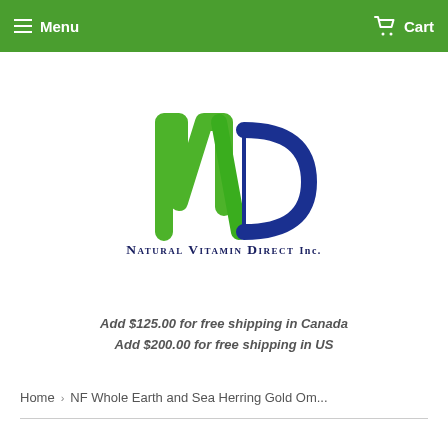Menu   Cart
[Figure (logo): Natural Vitamin Direct Inc. logo with stylized NVD letters in green and blue, and company name below]
Add $125.00 for free shipping in Canada
Add $200.00 for free shipping in US
Home › NF Whole Earth and Sea Herring Gold Om...